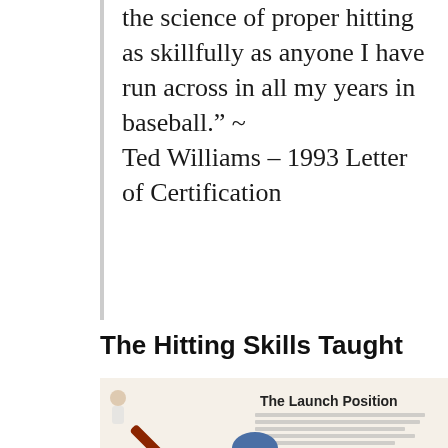the science of proper hitting as skillfully as anyone I have run across in all my years in baseball." ~ Ted Williams – 1993 Letter of Certification
The Hitting Skills Taught
[Figure (illustration): An illustration titled 'The Launch Position' showing a baseball batter in hitting stance with annotations and trajectory lines drawn over the figure.]